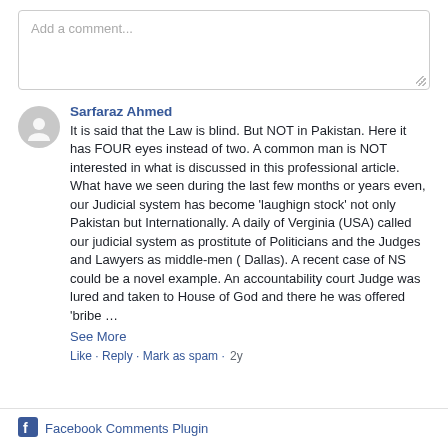Add a comment...
Sarfaraz Ahmed
It is said that the Law is blind. But NOT in Pakistan. Here it has FOUR eyes instead of two. A common man is NOT interested in what is discussed in this professional article. What have we seen during the last few months or years even, our Judicial system has become 'laughign stock' not only Pakistan but Internationally. A daily of Verginia (USA) called our judicial system as prostitute of Politicians and the Judges and Lawyers as middle-men ( Dallas). A recent case of NS could be a novel example. An accountability court Judge was lured and taken to House of God and there he was offered 'bribe ...
See More
Like · Reply · Mark as spam · 2y
Facebook Comments Plugin